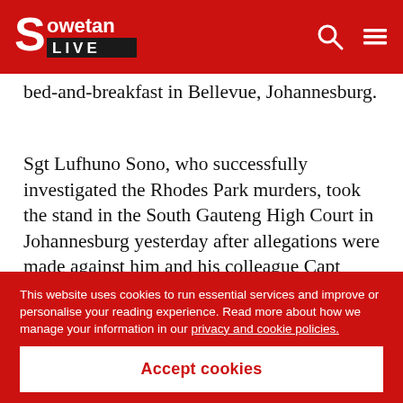Sowetan LIVE
bed-and-breakfast in Bellevue, Johannesburg.
Sgt Lufhuno Sono, who successfully investigated the Rhodes Park murders, took the stand in the South Gauteng High Court in Johannesburg yesterday after allegations were made against him and his colleague Capt Mbhazima Pila by the rapper.
This website uses cookies to run essential services and improve or personalise your reading experience. Read more about how we manage your information in our privacy and cookie policies.
Accept cookies